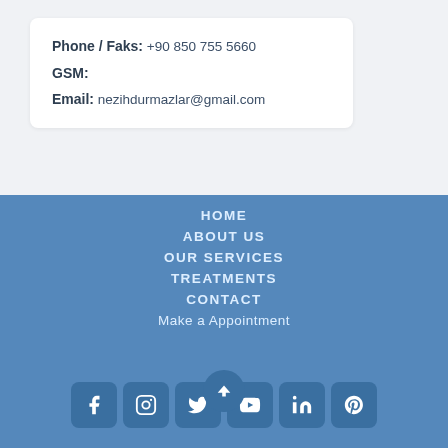Phone / Faks: +90 850 755 5660
GSM:
Email: nezihdurmazlar@gmail.com
HOME
ABOUT US
OUR SERVICES
TREATMENTS
CONTACT
Make a Appointment
[Figure (other): Social media icon buttons: Facebook, Instagram, Twitter, YouTube, LinkedIn, Pinterest]